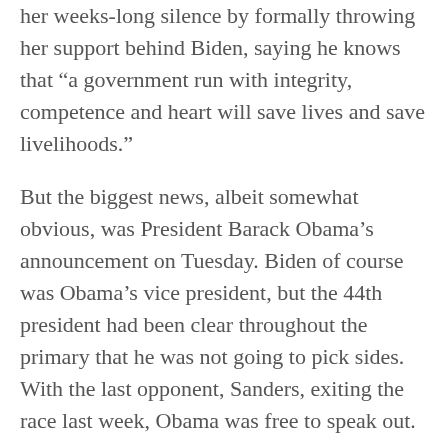her weeks-long silence by formally throwing her support behind Biden, saying he knows that “a government run with integrity, competence and heart will save lives and save livelihoods.”
But the biggest news, albeit somewhat obvious, was President Barack Obama’s announcement on Tuesday. Biden of course was Obama’s vice president, but the 44th president had been clear throughout the primary that he was not going to pick sides. With the last opponent, Sanders, exiting the race last week, Obama was free to speak out.
“Choosing Joe to be my vice president was one of the best decisions I ever made, and he became a close friend,” the president said in a video statement. “And I believe Joe has all the qualities we need in a president right now.”